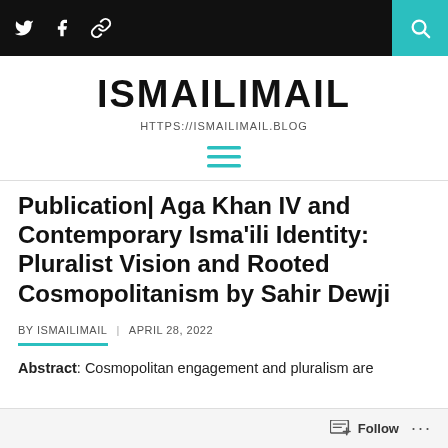ISMAILIMAIL — HTTPS://ISMAILIMAIL.BLOG
Publication| Aga Khan IV and Contemporary Isma'ili Identity: Pluralist Vision and Rooted Cosmopolitanism by Sahir Dewji
BY ISMAILIMAIL | APRIL 28, 2022
Abstract: Cosmopolitan engagement and pluralism are